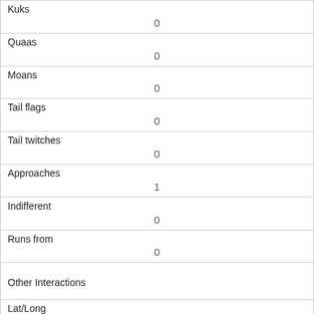| Kuks | 0 |
| Quaas | 0 |
| Moans | 0 |
| Tail flags | 0 |
| Tail twitches | 0 |
| Approaches | 1 |
| Indifferent | 0 |
| Runs from | 0 |
| Other Interactions |  |
| Lat/Long | POINT (-73.9802079259866 40.7678723471007) |